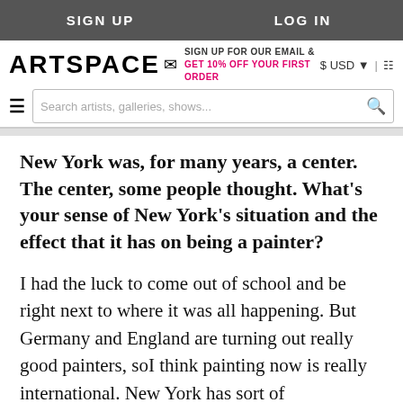SIGN UP | LOG IN
ARTSPACE — SIGN UP FOR OUR EMAIL & GET 10% OFF YOUR FIRST ORDER — $ USD | cart
Search artists, galleries, shows...
New York was, for many years, a center. The center, some people thought. What's your sense of New York's situation and the effect that it has on being a painter?
I had the luck to come out of school and be right next to where it was all happening. But Germany and England are turning out really good painters, soI think painting now is really international. New York has sort of disintegrated as the center. It's a bigger playing field,